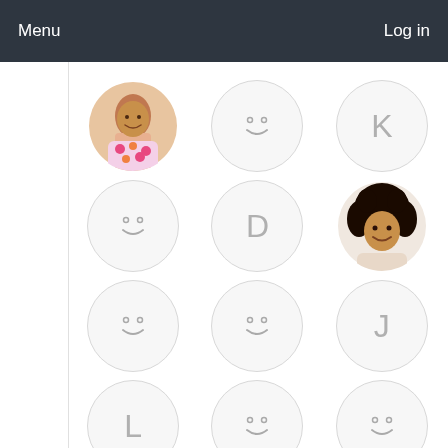Menu   Log in
[Figure (screenshot): App interface showing a grid of user avatar circles. Row 1: photo of woman with floral dress, smiley face placeholder, letter K placeholder. Row 2: smiley face placeholder, letter D placeholder, photo of woman with curly hair. Row 3: smiley face placeholder, smiley face placeholder, letter J placeholder. Row 4: letter L placeholder, smiley face placeholder, smiley face placeholder. Row 5 (partial): smiley face placeholder (partially visible), photo of blonde woman in salon, photo of woman with straightener.]